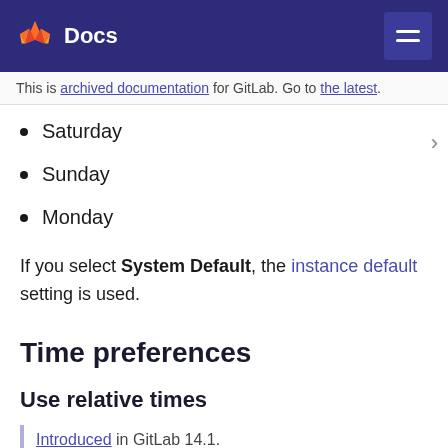Docs
This is archived documentation for GitLab. Go to the latest.
Saturday
Sunday
Monday
If you select System Default, the instance default setting is used.
Time preferences
Use relative times
Introduced in GitLab 14.1.